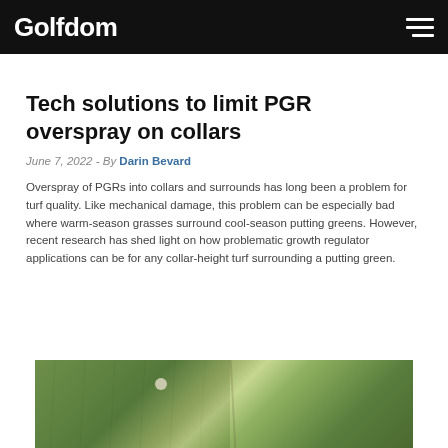Golfdom
Tech solutions to limit PGR overspray on collars
June 7, 2022 - By Darin Bevard
Overspray of PGRs into collars and surrounds has long been a problem for turf quality. Like mechanical damage, this problem can be especially bad where warm-season grasses surround cool-season putting greens. However, recent research has shed light on how problematic growth regulator applications can be for any collar-height turf surrounding a putting green.
[Figure (photo): Aerial or close-up view of a golf putting green and surrounding collar area, showing contrast between turf types, with a white golf hole marker visible.]